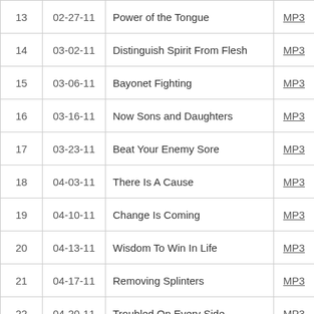| # | Date | Title | Link |
| --- | --- | --- | --- |
| 13 | 02-27-11 | Power of the Tongue | MP3 |
| 14 | 03-02-11 | Distinguish Spirit From Flesh | MP3 |
| 15 | 03-06-11 | Bayonet Fighting | MP3 |
| 16 | 03-16-11 | Now Sons and Daughters | MP3 |
| 17 | 03-23-11 | Beat Your Enemy Sore | MP3 |
| 18 | 04-03-11 | There Is A Cause | MP3 |
| 19 | 04-10-11 | Change Is Coming | MP3 |
| 20 | 04-13-11 | Wisdom To Win In Life | MP3 |
| 21 | 04-17-11 | Removing Splinters | MP3 |
| 22 | 04-20-11 | Troubled On Every Side | MP3 |
| 23 | 04-24-11 | What Happened After The Cross | MP3 |
| 24 | 04-27-11 | Turning Stones Into Bread | MP3 |
| 25 | 05-01-11 | Seeing God In High Definition | MP3 |